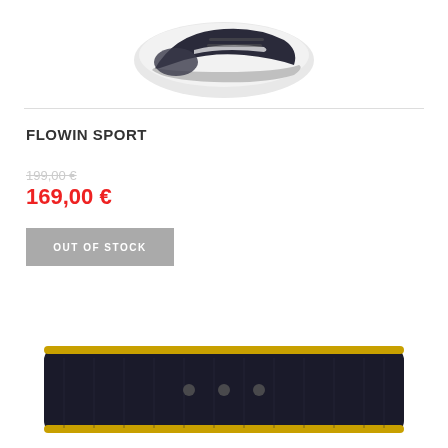[Figure (photo): Partial view of a sports shoe, cropped at top of page, showing the toe/front portion in white and black colors against white background]
FLOWIN SPORT
169,00 €
OUT OF STOCK
[Figure (photo): Partial view of a dark-colored sports/fitness product (Flowin board) with gold trim at bottom of page, cropped showing only the top portion]